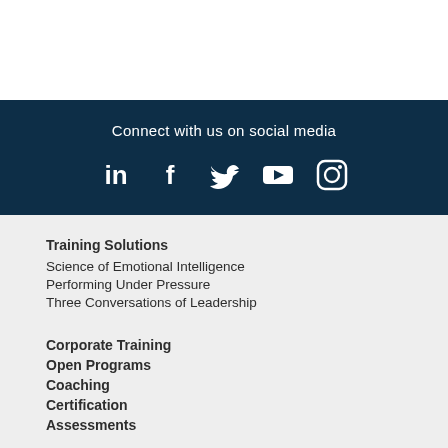[Figure (infographic): Social media banner with dark navy background showing icons for LinkedIn, Facebook, Twitter, YouTube, and Instagram with text 'Connect with us on social media']
Training Solutions
Science of Emotional Intelligence
Performing Under Pressure
Three Conversations of Leadership
Corporate Training
Open Programs
Coaching
Certification
Assessments